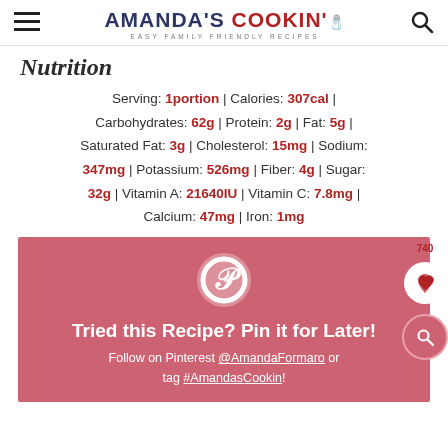AMANDA'S COOKIN' — EASY FAMILY FRIENDLY RECIPES
Nutrition
Serving: 1portion | Calories: 307cal | Carbohydrates: 62g | Protein: 2g | Fat: 5g | Saturated Fat: 3g | Cholesterol: 15mg | Sodium: 347mg | Potassium: 526mg | Fiber: 4g | Sugar: 32g | Vitamin A: 21640IU | Vitamin C: 7.8mg | Calcium: 47mg | Iron: 1mg
[Figure (infographic): Pink Pinterest promotional box with Pinterest logo, text 'Tried this Recipe? Pin it for Later! Follow on Pinterest @AmandaFormaro or tag #AmandasCookin!']
Tried this Recipe? Pin it for Later! Follow on Pinterest @AmandaFormaro or tag #AmandasCookin!